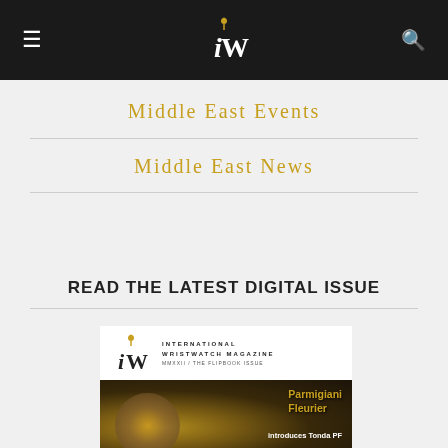iW International Wristwatch Magazine header with hamburger menu and search icon
Middle East Events
Middle East News
READ THE LATEST DIGITAL ISSUE
[Figure (other): International Wristwatch Magazine cover showing iW logo header and Parmigiani Fleurier Tonda PF watch advertisement]